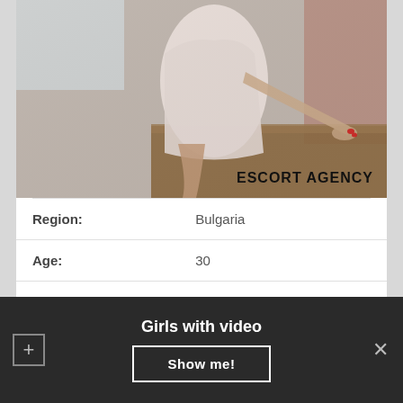[Figure (photo): A woman in a short white dress leaning over a wooden surface. Text overlay reads 'ESCORT AGENCY' in bold black letters.]
| Region: | Bulgaria |
| Age: | 30 |
| Height: | 174 |
| WEIGHT: | 64 |
Girls with video
Show me!